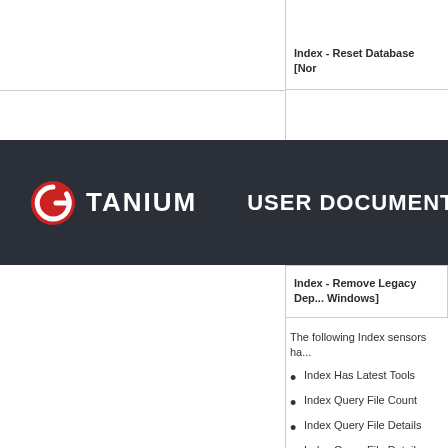Index - Reset Database [Nor...
[Figure (logo): Tanium logo with circular icon and USER DOCUMENTATION text on dark background]
Index - Remove Legacy Dep... Windows]
The following Index sensors ha...
Index Has Latest Tools
Index Query File Count
Index Query File Details
Index Query File Details
Index Query File Details
Index Query File Details
Index Query File Exists
Index Query File Hash
Index Query File Path...